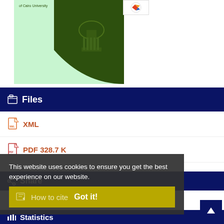[Figure (photo): University book cover with dark green shield/crest emblem on light green background, with small institution logo in upper right]
Files
XML
PDF 328.7 K
Share
This website uses cookies to ensure you get the best experience on our website.
How to cite  Got it!
Statistics